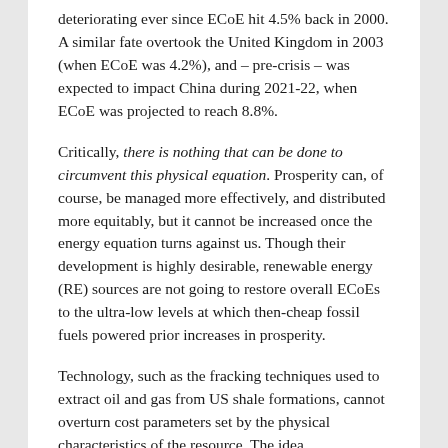deteriorating ever since ECoE hit 4.5% back in 2000. A similar fate overtook the United Kingdom in 2003 (when ECoE was 4.2%), and – pre-crisis – was expected to impact China during 2021-22, when ECoE was projected to reach 8.8%.
Critically, there is nothing that can be done to circumvent this physical equation. Prosperity can, of course, be managed more effectively, and distributed more equitably, but it cannot be increased once the energy equation turns against us. Though their development is highly desirable, renewable energy (RE) sources are not going to restore overall ECoEs to the ultra-low levels at which then-cheap fossil fuels powered prior increases in prosperity.
Technology, such as the fracking techniques used to extract oil and gas from US shale formations, cannot overturn cost parameters set by the physical characteristics of the resource. The idea that